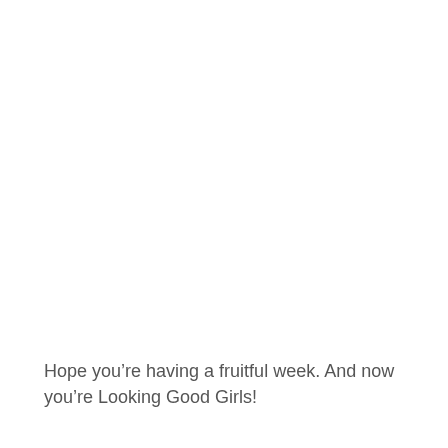Hope you’re having a fruitful week. And now you’re Looking Good Girls!